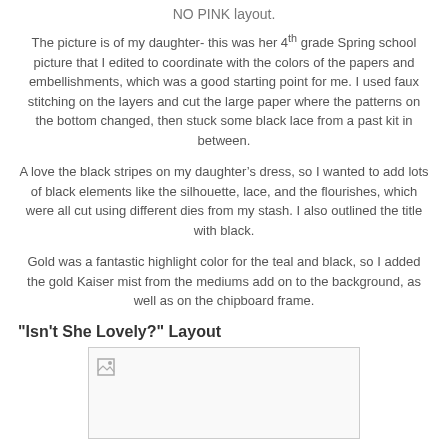NO PINK layout.
The picture is of my daughter- this was her 4th grade Spring school picture that I edited to coordinate with the colors of the papers and embellishments, which was a good starting point for me. I used faux stitching on the layers and cut the large paper where the patterns on the bottom changed, then stuck some black lace from a past kit in between.
A love the black stripes on my daughter’s dress, so I wanted to add lots of black elements like the silhouette, lace, and the flourishes, which were all cut using different dies from my stash. I also outlined the title with black.
Gold was a fantastic highlight color for the teal and black, so I added the gold Kaiser mist from the mediums add on to the background, as well as on the chipboard frame.
"Isn't She Lovely?" Layout
[Figure (photo): Broken/placeholder image box for the 'Isn't She Lovely?' layout photo]